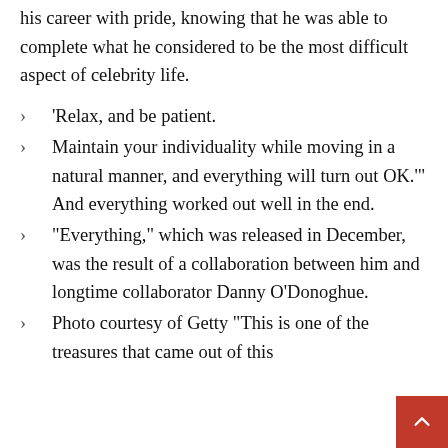his career with pride, knowing that he was able to complete what he considered to be the most difficult aspect of celebrity life.
‘Relax, and be patient.
Maintain your individuality while moving in a natural manner, and everything will turn out OK.’” And everything worked out well in the end.
“Everything,” which was released in December, was the result of a collaboration between him and longtime collaborator Danny O’Donoghue.
Photo courtesy of Getty “This is one of the treasures that came out of this